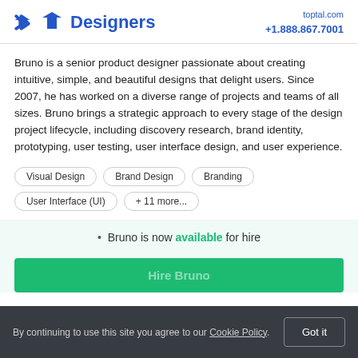Designers | toptal.com +1.888.867.7001
Bruno is a senior product designer passionate about creating intuitive, simple, and beautiful designs that delight users. Since 2007, he has worked on a diverse range of projects and teams of all sizes. Bruno brings a strategic approach to every stage of the design project lifecycle, including discovery research, brand identity, prototyping, user testing, user interface design, and user experience.
Visual Design
Brand Design
Branding
User Interface (UI)
+ 11 more...
• Bruno is now available for hire
Hire Bruno
By continuing to use this site you agree to our Cookie Policy.